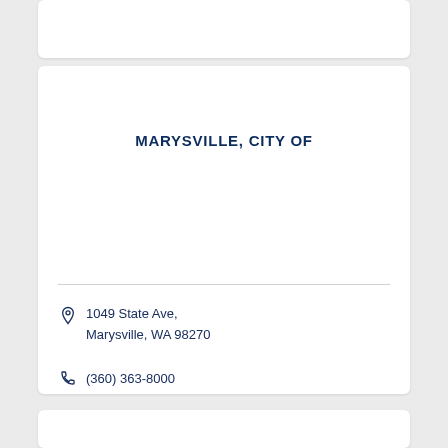MARYSVILLE, CITY OF
1049 State Ave, Marysville, WA 98270
(360) 363-8000